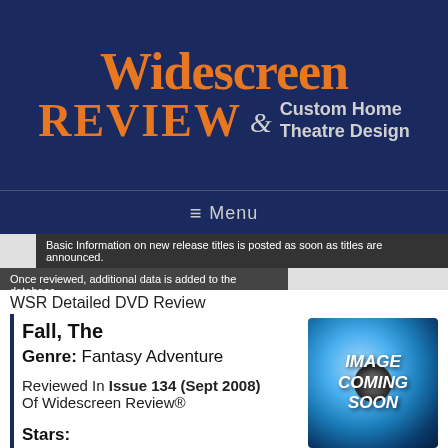[Figure (logo): Widescreen Review & Custom Home Theatre Design logo on dark navy background. Large orange serif text 'Widescreen' and 'REVIEW' with '& Custom Home Theatre Design' in gray sans-serif.]
Menu
Basic Information on new release titles is posted as soon as titles are announced.
Once reviewed, additional data is added to the database.
WSR Detailed DVD Review
Fall, The
Genre: Fantasy Adventure
Reviewed In Issue 134 (Sept 2008) Of Widescreen Review®
[Figure (illustration): DVD placeholder image: blue DVD disc graphic with text 'IMAGE COMING SOON' overlaid in white italic bold text.]
Stars:
Lee Pace, Justine Waddell, Daniel